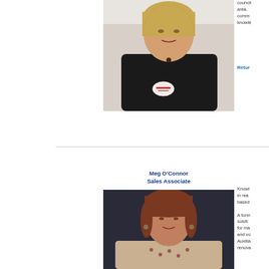[Figure (photo): Photo of a smiling woman with blonde hair wearing a black top and a name badge, standing indoors.]
council area. comm knowle
Retur
Meg O'Connor
Sales Associate
[Figure (photo): Professional headshot of a woman with reddish-brown hair, smiling, wearing a patterned top against a dark background.]
Knowl in rea based A form soluti for ma and vo Auxilia renova